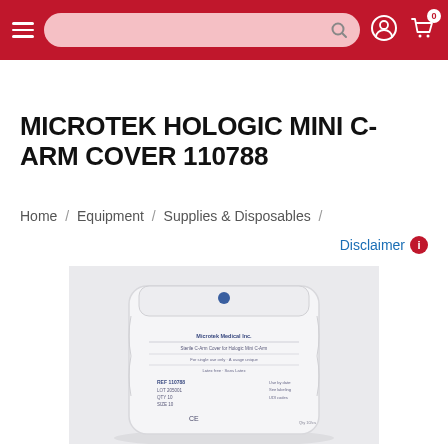Navigation bar with hamburger menu, search input, user icon, and cart icon
MICROTEK HOLOGIC MINI C-ARM COVER 110788
Home / Equipment / Supplies & Disposables /
Disclaimer
[Figure (photo): Product photo of a Microtek Hologic Mini C-Arm Cover 110788 in sealed packaging, white/light grey sterile pouch with blue text label on a light grey background.]